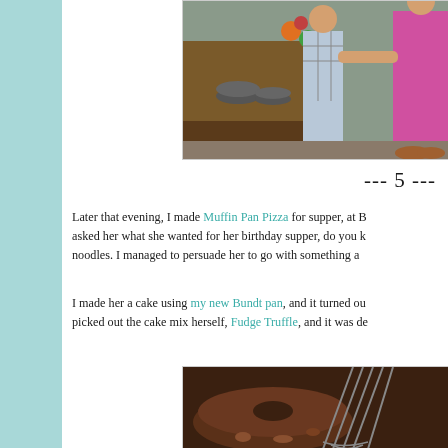[Figure (photo): Children playing at a toy kitchen set, one child in a plaid shirt and another in pink clothing]
--- 5 ---
Later that evening, I made Muffin Pan Pizza for supper, at B... asked her what she wanted for her birthday supper, do you k... noodles. I managed to persuade her to go with something a...
I made her a cake using my new Bundt pan, and it turned ou... picked out the cake mix herself, Fudge Truffle, and it was de...
[Figure (photo): Close-up of a chocolate Bundt cake with a whisk nearby]